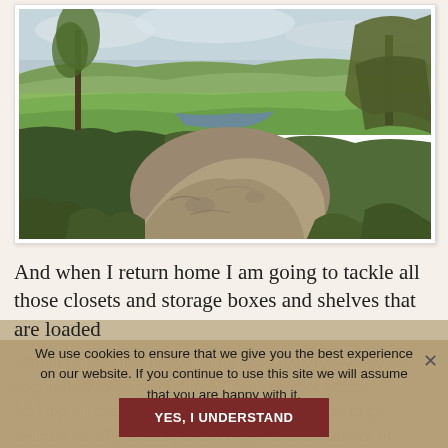[Figure (photo): Landscape photograph showing a rural Australian scene with large boulders in the foreground, green rolling hills and farmland in the background, a small waterway visible in the middle distance, eucalyptus trees on the sides, and an overcast sky.]
And when I return home I am going to tackle all those closets and storage boxes and shelves that are loaded
With the things that no longer matter. I look forward to the opportunity to let go of things I don't need or want... Making more artwork, exploring new and places to go seems a bit silly at this point. I might seek the advice of others ... especially the art groups.
We use cookies to ensure that we give you the best experience on our website. If you continue to use this site we will assume that you are happy with it.
YES, I UNDERSTAND